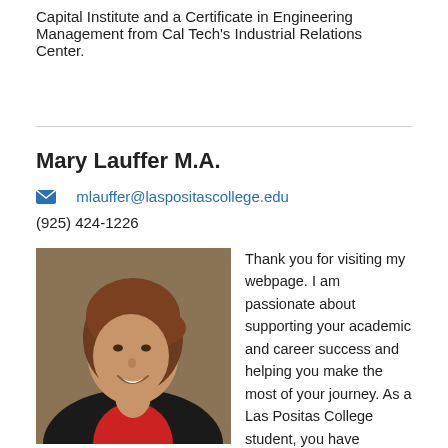Capital Institute and a Certificate in Engineering Management from Cal Tech's Industrial Relations Center.
Mary Lauffer M.A.
mlauffer@laspositascollege.edu
(925) 424-1226
[Figure (photo): Headshot photo of Mary Lauffer, a woman with brown hair wearing a black jacket with a red shirt, smiling, against a brown/tan background.]
Thank you for visiting my webpage. I am passionate about supporting your academic and career success and helping you make the most of your journey. As a Las Positas College student, you have opportunities now that can shape the trajectory of your life.